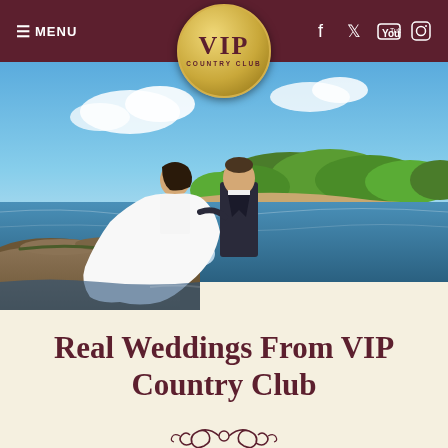≡ MENU  [VIP Country Club logo]  [social icons: Facebook, Twitter, YouTube, Instagram]
[Figure (photo): Wedding couple (bride in white gown, groom in dark suit) standing on rocky shore by water with green tree line in background under blue sky]
Real Weddings From VIP Country Club
[Figure (illustration): Decorative scrollwork ornament]